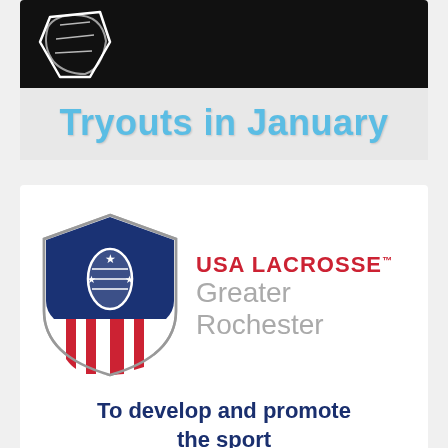[Figure (illustration): Black banner with white lacrosse stick/head graphic on left side]
Tryouts in January
AD
[Figure (logo): USA Lacrosse Greater Rochester shield logo with red white and blue stripes and lacrosse head, next to text USA LACROSSE Greater Rochester]
To develop and promote the sport
[Figure (photo): Group photo of lacrosse players on a green field]